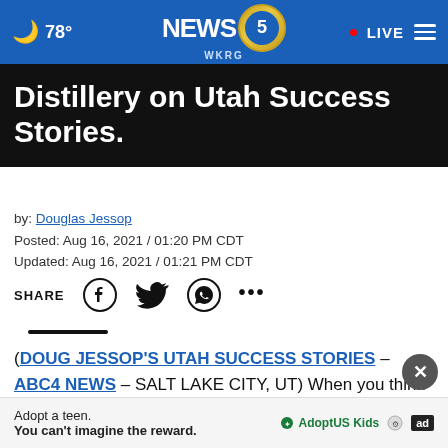78° NEWS 5 WKRG • LIVE
Distillery on Utah Success Stories.
by: Douglas Jessop
Posted: Aug 16, 2021 / 01:20 PM CDT
Updated: Aug 16, 2021 / 01:21 PM CDT
SHARE [Facebook] [Twitter] [WhatsApp] [More]
(DOUG JESSOP'S UTAH SUCCESS STORIES – ABC4 NEWS – SALT LAKE CITY, UT) When you think of Vodka, let's face it, you usually think of Russia. But maybe
[Figure (other): Advertisement banner: 'Adopt a teen. You can't imagine the reward.' with AdoptUSKids logo and ad badge]